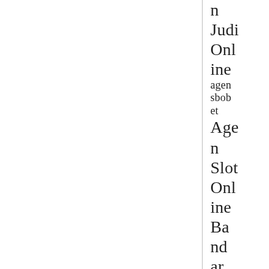n Judi Online agen sbobet Agen Slot Online Bandar Q ban